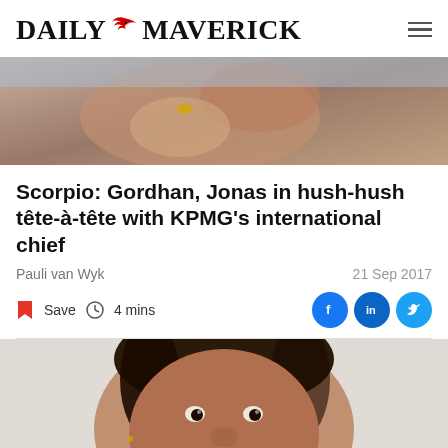DAILY MAVERICK
[Figure (photo): Close-up photo of a person's face/hand, possibly thinking pose]
Scorpio: Gordhan, Jonas in hush-hush tête-à-tête with KPMG's international chief
Pauli van Wyk
21 Sep 2017
Save  4 mins
[Figure (photo): Portrait photo of a woman smiling, with braided hair and dark lipstick]